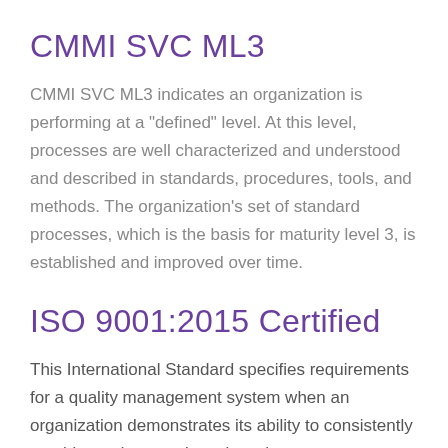CMMI SVC ML3
CMMI SVC ML3 indicates an organization is performing at a "defined" level. At this level, processes are well characterized and understood and described in standards, procedures, tools, and methods. The organization's set of standard processes, which is the basis for maturity level 3, is established and improved over time.
ISO 9001:2015 Certified
This International Standard specifies requirements for a quality management system when an organization demonstrates its ability to consistently provide products and services that meet customer and